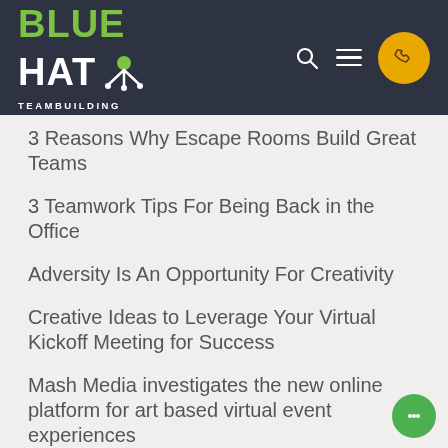[Figure (logo): Blue Hat Teambuilding logo with green and white text on dark background, with navigation icons including search, hamburger menu, and yellow phone button]
3 Reasons Why Escape Rooms Build Great Teams
3 Teamwork Tips For Being Back in the Office
Adversity Is An Opportunity For Creativity
Creative Ideas to Leverage Your Virtual Kickoff Meeting for Success
Mash Media investigates the new online platform for art based virtual event experiences
PA Life put Blue Hat's virtual escape rooms through its paces
Strength and Recovery For The Events Industry
The Vendry quiz: Blue Hat on employee engagement through virtual events and how to